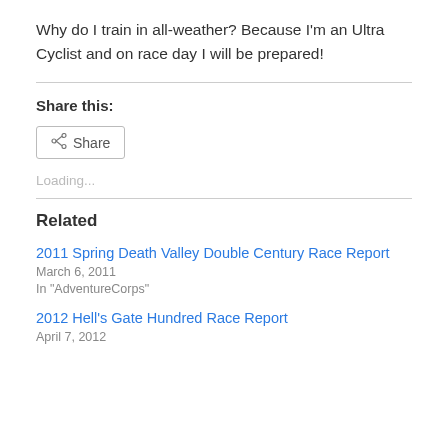Why do I train in all-weather?  Because I'm an Ultra Cyclist and on race day I will be prepared!
Share this:
[Figure (other): Share button with share icon]
Loading...
Related
2011 Spring Death Valley Double Century Race Report
March 6, 2011
In "AdventureCorps"
2012 Hell's Gate Hundred Race Report
April 7, 2012